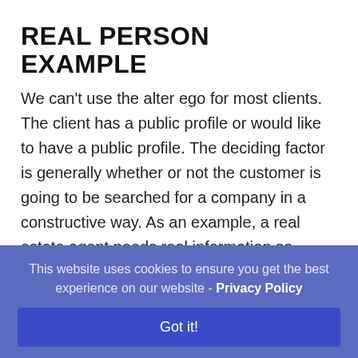REAL PERSON EXAMPLE
We can't use the alter ego for most clients. The client has a public profile or would like to have a public profile. The deciding factor is generally whether or not the customer is going to be searched for a company in a constructive way. As an example, a real estate agent needs real information so potential buyers and sellers may want to know who the agent is before they agree
This website uses cookies to ensure you get the best experience on our website - Privacy Policy
Got it!